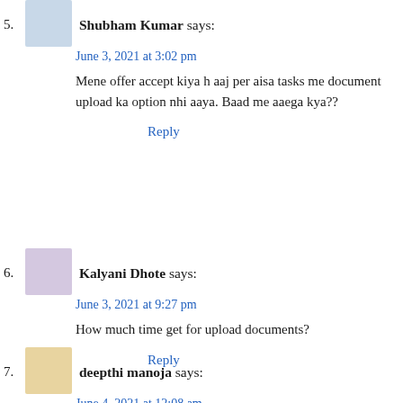5. Shubham Kumar says:
June 3, 2021 at 3:02 pm

Mene offer accept kiya h aaj per aisa tasks me document upload ka option nhi aaya. Baad me aaega kya??

Reply
6. Kalyani Dhote says:
June 3, 2021 at 9:27 pm

How much time get for upload documents?

Reply
7. deepthi manoja says:
June 4, 2021 at 12:08 am

What is the time limit within which we have to upload our documents ?

Reply
8. Pranav Potdar says: